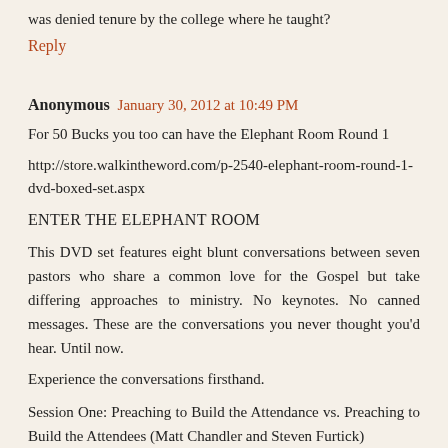was denied tenure by the college where he taught?
Reply
Anonymous January 30, 2012 at 10:49 PM
For 50 Bucks you too can have the Elephant Room Round 1
http://store.walkintheword.com/p-2540-elephant-room-round-1-dvd-boxed-set.aspx
ENTER THE ELEPHANT ROOM
This DVD set features eight blunt conversations between seven pastors who share a common love for the Gospel but take differing approaches to ministry. No keynotes. No canned messages. These are the conversations you never thought you'd hear. Until now.
Experience the conversations firsthand.
Session One: Preaching to Build the Attendance vs. Preaching to Build the Attendees (Matt Chandler and Steven Furtick)